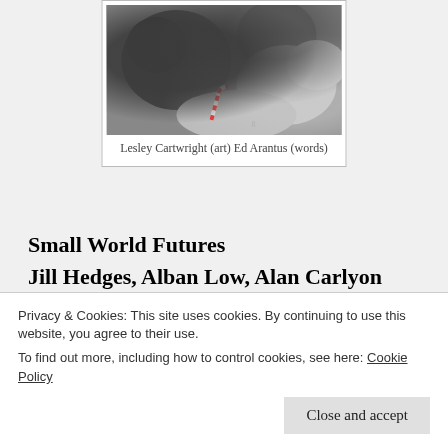[Figure (photo): A dark cave or rocky scene with snow and a candy cane visible]
Lesley Cartwright (art) Ed Arantus (words)
Small World Futures
Jill Hedges, Alban Low, Alan Carlyon Smith, Kevin Acott, Sara Lerota, Lesley Cartwright, Ed Arantus, Stella Tripp, Natalie Low, Bryan Benge, Dean Reddick, Wayne Sleeth, Bethany Murray, Rebecca ...
Privacy & Cookies: This site uses cookies. By continuing to use this website, you agree to their use.
To find out more, including how to control cookies, see here: Cookie Policy